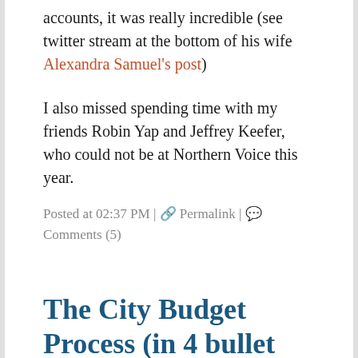accounts, it was really incredible (see twitter stream at the bottom of his wife Alexandra Samuel's post)
I also missed spending time with my friends Robin Yap and Jeffrey Keefer, who could not be at Northern Voice this year.
Posted at 02:37 PM | 🔗 Permalink | 💬 Comments (5)
The City Budget Process (in 4 bullet points)
February 16, 2009